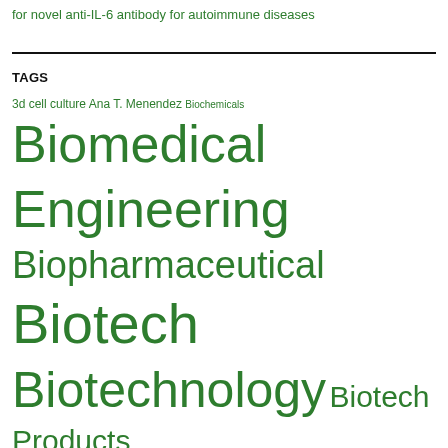for novel anti-IL-6 antibody for autoimmune diseases
TAGS
3d cell culture Ana T. Menendez Biochemicals Biomedical Engineering Biopharmaceutical Biotech Biotechnology Biotech Products Biotech Services Biotech Solutions cancer Catalent catalent.com Catalent Pharma Solutions conference Cryo-Cell International DNA drug discovery FDA Gene gene expression Gene Therapy Genetics Genome GPEx Healthcare Inc. LC Sciences Licenses mammospheres Medical Technologies Medicine microarray Microarrays microRNA miRNA packaging technologies pharma pharmaceutical Pharmaceuticals Proteomics RNA Science Stem